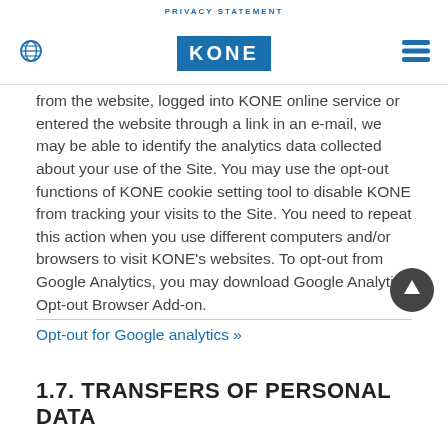PRIVACY STATEMENT
[Figure (logo): KONE logo — white text on blue background — with globe icon on left and hamburger menu icon on right]
from the website, logged into KONE online service or entered the website through a link in an e-mail, we may be able to identify the analytics data collected about your use of the Site. You may use the opt-out functions of KONE cookie setting tool to disable KONE from tracking your visits to the Site. You need to repeat this action when you use different computers and/or browsers to visit KONE's websites. To opt-out from Google Analytics, you may download Google Analytics Opt-out Browser Add-on.
Opt-out for Google analytics »
1.7. TRANSFERS OF PERSONAL DATA